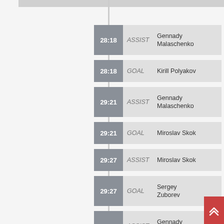28:18 ASSIST Gennady Malaschenko
28:18 GOAL Kirill Polyakov
29:21 ASSIST Gennady Malaschenko
29:21 GOAL Miroslav Skok
29:27 ASSIST Miroslav Skok
29:27 GOAL Sergey Zuborev
29:38 ASSIST Gennady Malaschenko
29:38 GOAL Sergey Zuborev